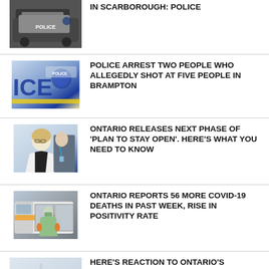IN SCARBOROUGH: POLICE
POLICE ARREST TWO PEOPLE WHO ALLEGEDLY SHOT AT FIVE PEOPLE IN BRAMPTON
ONTARIO RELEASES NEXT PHASE OF 'PLAN TO STAY OPEN'. HERE'S WHAT YOU NEED TO KNOW
ONTARIO REPORTS 56 MORE COVID-19 DEATHS IN PAST WEEK, RISE IN POSITIVITY RATE
HERE'S REACTION TO ONTARIO'S